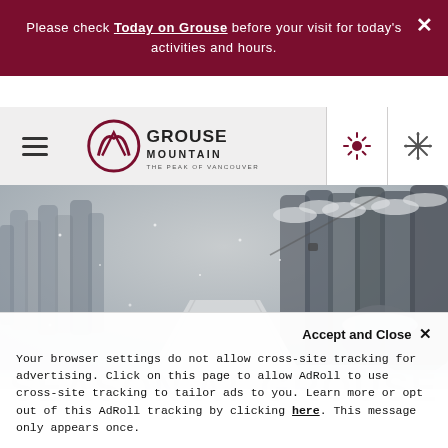Please check Today on Grouse before your visit for today's activities and hours.
[Figure (logo): Grouse Mountain - The Peak of Vancouver logo with circular mountain graphic]
[Figure (photo): Snowy winter road through forested mountain landscape, foggy conditions, snow-covered trees]
Accept and Close ✕
Your browser settings do not allow cross-site tracking for advertising. Click on this page to allow AdRoll to use cross-site tracking to tailor ads to you. Learn more or opt out of this AdRoll tracking by clicking here. This message only appears once.
SEASON AT GROUSE